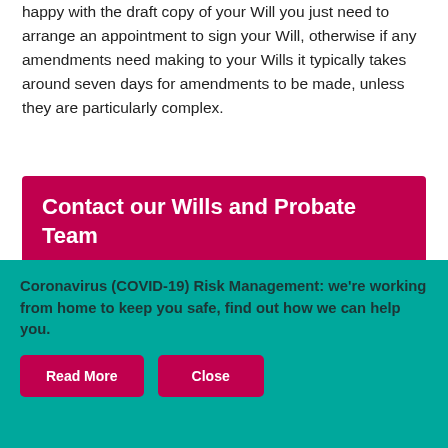happy with the draft copy of your Will you just need to arrange an appointment to sign your Will, otherwise if any amendments need making to your Wills it typically takes around seven days for amendments to be made, unless they are particularly complex.
Contact our Wills and Probate Team
0115 910 6221
Coronavirus (COVID-19) Risk Management: we're working from home to keep you safe, find out how we can help you.
Read More
Close